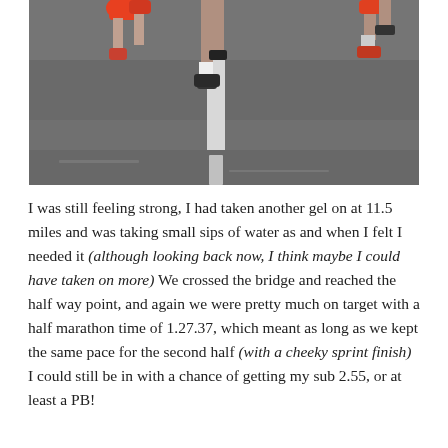[Figure (photo): Close-up photo of marathon runners' legs and feet on asphalt road, showing brightly colored running shoes (red/orange), with a white painted line on the road surface visible in the center.]
I was still feeling strong, I had taken another gel on at 11.5 miles and was taking small sips of water as and when I felt I needed it (although looking back now, I think maybe I could have taken on more) We crossed the bridge and reached the half way point, and again we were pretty much on target with a half marathon time of 1.27.37, which meant as long as we kept the same pace for the second half (with a cheeky sprint finish) I could still be in with a chance of getting my sub 2.55, or at least a PB!